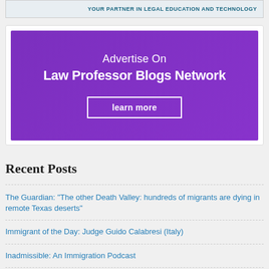[Figure (illustration): Top banner with 'YOUR PARTNER IN LEGAL EDUCATION AND TECHNOLOGY' text in dark teal on light blue/grey background]
[Figure (infographic): Purple advertisement banner: 'Advertise On Law Professor Blogs Network' with 'learn more' button]
Recent Posts
The Guardian: "The other Death Valley: hundreds of migrants are dying in remote Texas deserts"
Immigrant of the Day: Judge Guido Calabresi (Italy)
Inadmissible: An Immigration Podcast